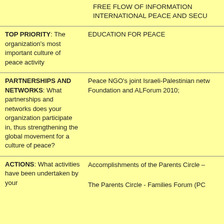FREE FLOW OF INFORMATION
INTERNATIONAL PEACE AND SECU
TOP PRIORITY: The organization's most important culture of peace activity
EDUCATION FOR PEACE
PARTNERSHIPS AND NETWORKS: What partnerships and networks does your organization participate in, thus strengthening the global movement for a culture of peace?
Peace NGO's joint Israeli-Palestinian network; Foundation and ALForum 2010;
ACTIONS: What activities have been undertaken by your
Accomplishments of the Parents Circle –
The Parents Circle - Families Forum (PC